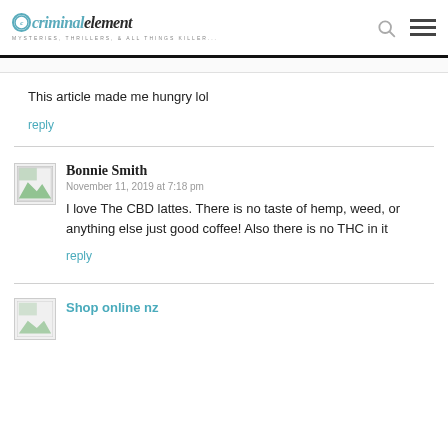criminalelement — MYSTERIES, THRILLERS, & ALL THINGS KILLER...
This article made me hungry lol
reply
Bonnie Smith
November 11, 2019 at 7:18 pm
I love The CBD lattes. There is no taste of hemp, weed, or anything else just good coffee! Also there is no THC in it
reply
Shop online nz